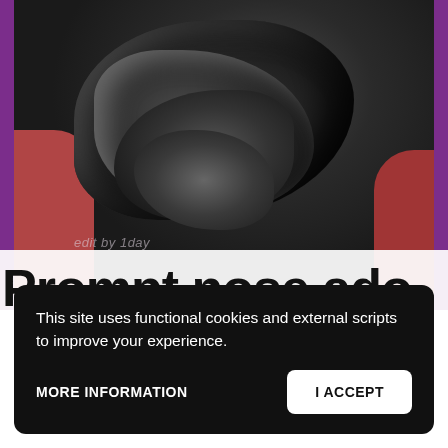[Figure (photo): Close-up photo of what appears to be dark black crinkled fabric or an animal nose, resting on a red/maroon surface. The image has a purple border on the sides. A watermark reading 'edit by 1day' is visible near the bottom left of the photo.]
Prompt nose ado
This site uses functional cookies and external scripts to improve your experience.
MORE INFORMATION
I ACCEPT